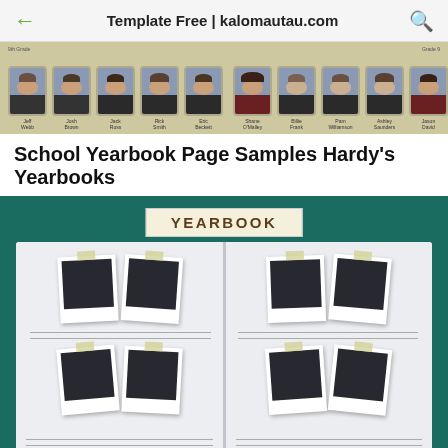Template Free | kalomautau.com
[Figure (photo): School yearbook portrait strip showing 10 student photos in a row with names below each photo, on a tan/beige background]
School Yearbook Page Samples Hardy's Yearbooks
[Figure (illustration): Illustration of an open yearbook with the label 'YEARBOOK' on a banner at the top, set against a dark teal background. The open book shows two pages each containing two rows of polaroid-style photos (4 photos per page, 8 total), each photo taped to the page with yellow tape strips. Lines are shown below each row of photos for names.]